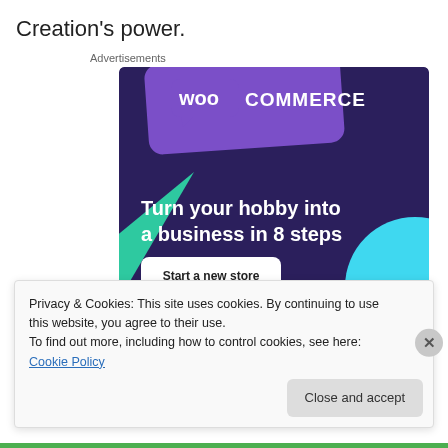Creation's power.
Advertisements
[Figure (illustration): WooCommerce advertisement banner with dark purple background, teal triangle, blue circle, purple logo card. Text: 'Turn your hobby into a business in 8 steps'. Button: 'Start a new store'.]
Privacy & Cookies: This site uses cookies. By continuing to use this website, you agree to their use.
To find out more, including how to control cookies, see here: Cookie Policy
Close and accept